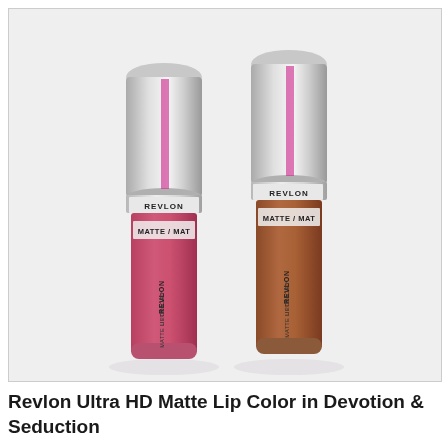[Figure (photo): Two Revlon Ultra HD Matte Lip Color bottles side by side. Left bottle is pink/magenta (Devotion), right bottle is brown/nude (Seduction). Both have silver metallic caps and show REVLON branding with MATTE/MAT label on the tube. Products photographed on a white/light gray background. Watermark 'PRAIRIE BEAUTY ♥' in upper left corner.]
Revlon Ultra HD Matte Lip Color in Devotion & Seduction